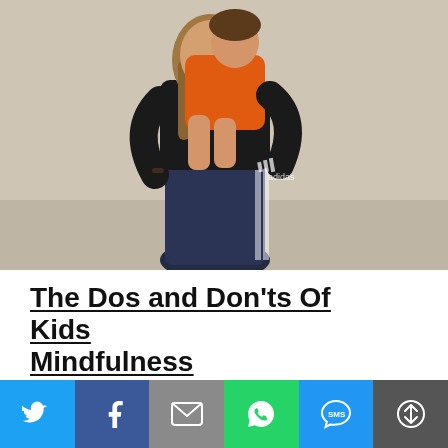[Figure (photo): A person (adult/parent) holding a child on their back/front, both wearing casual athletic clothes. The adult has long hair and wears black jacket and navy Adidas pants. The child wears an orange shirt.]
The Dos and Don'ts Of Kids Mindfulness
Instruct them to practice mindfulness and teach your kid...